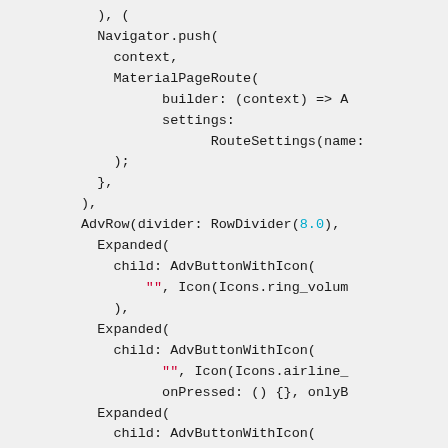Code snippet showing Flutter/Dart code with Navigator.push, AdvRow, Expanded, AdvButtonWithIcon, Visibility, and AdvDatePicker widget calls.